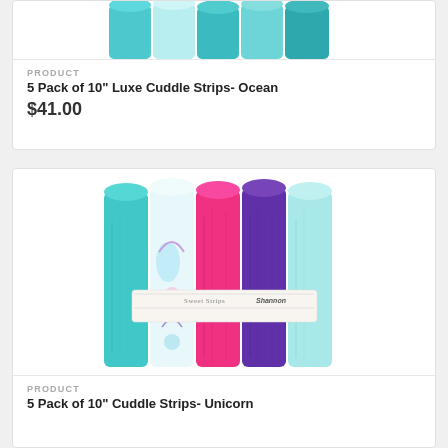[Figure (photo): 5 Pack of 10" Luxe Cuddle Strips Ocean - rolled fabric strips in teal/aqua colors (partial, top of card cut off)]
PRODUCT
5 Pack of 10" Luxe Cuddle Strips- Ocean
$41.00
[Figure (photo): 5 Pack of 10" Cuddle Strips Unicorn - rolled fabric strips in teal, unicorn print, pink, purple, light blue colors with Sweet Strips / Shannon label band]
PRODUCT
5 Pack of 10" Cuddle Strips- Unicorn